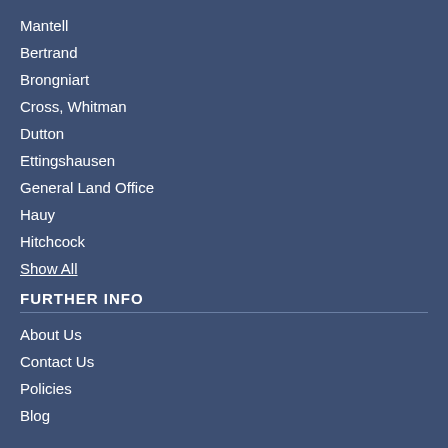Mantell
Bertrand
Brongniart
Cross, Whitman
Dutton
Ettingshausen
General Land Office
Hauy
Hitchcock
Show All
FURTHER INFO
About Us
Contact Us
Policies
Blog